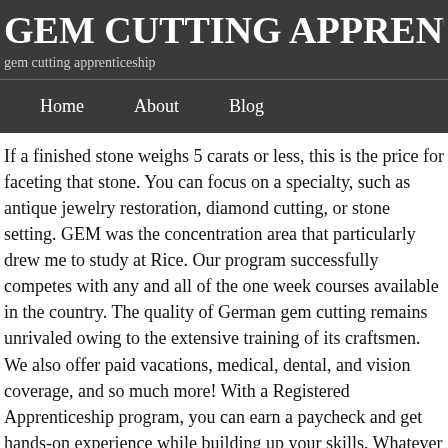GEM CUTTING APPRENT
gem cutting apprenticeship
Home   About   Blog
If a finished stone weighs 5 carats or less, this is the price for faceting that stone. You can focus on a specialty, such as antique jewelry restoration, diamond cutting, or stone setting. GEM was the concentration area that particularly drew me to study at Rice. Our program successfully competes with any and all of the one week courses available in the country. The quality of German gem cutting remains unrivaled owing to the extensive training of its craftsmen. We also offer paid vacations, medical, dental, and vision coverage, and so much more! With a Registered Apprenticeship program, you can earn a paycheck and get hands-on experience while building up your skills. Whatever apprenticeship you choose, you will work towards nationally recognised qualifications as well as gaining